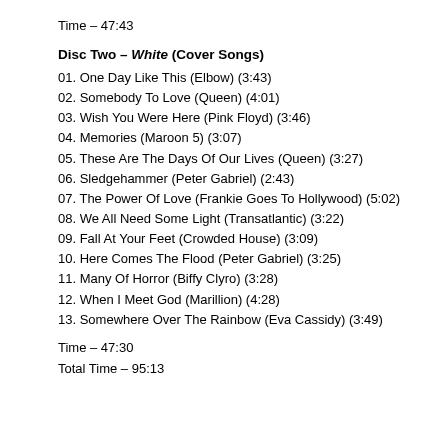Time – 47:43
Disc Two – White (Cover Songs)
01. One Day Like This (Elbow) (3:43)
02. Somebody To Love (Queen) (4:01)
03. Wish You Were Here (Pink Floyd) (3:46)
04. Memories (Maroon 5) (3:07)
05. These Are The Days Of Our Lives (Queen) (3:27)
06. Sledgehammer (Peter Gabriel) (2:43)
07. The Power Of Love (Frankie Goes To Hollywood) (5:02)
08. We All Need Some Light (Transatlantic) (3:22)
09. Fall At Your Feet (Crowded House) (3:09)
10. Here Comes The Flood (Peter Gabriel) (3:25)
11. Many Of Horror (Biffy Clyro) (3:28)
12. When I Meet God (Marillion) (4:28)
13. Somewhere Over The Rainbow (Eva Cassidy) (3:49)
Time – 47:30
Total Time – 95:13